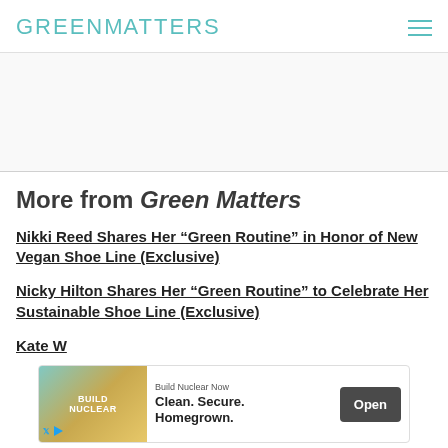GREEN MATTERS
More from Green Matters
Nikki Reed Shares Her “Green Routine” in Honor of New Vegan Shoe Line (Exclusive)
Nicky Hilton Shares Her “Green Routine” to Celebrate Her Sustainable Shoe Line (Exclusive)
Kate W...
[Figure (other): Advertisement banner: Build Nuclear Now — Clean. Secure. Homegrown. Open button]